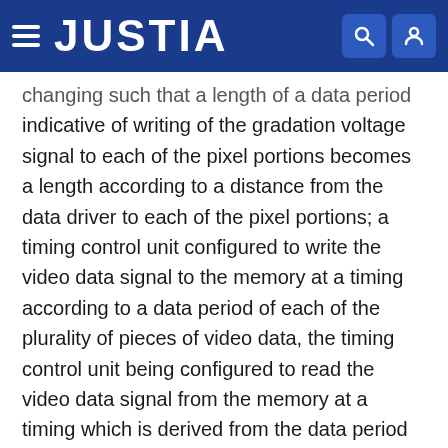JUSTIA
changing such that a length of a data period indicative of writing of the gradation voltage signal to each of the pixel portions becomes a length according to a distance from the data driver to each of the pixel portions; a timing control unit configured to write the video data signal to the memory at a timing according to a data period of each of the plurality of pieces of video data, the timing control unit being configured to read the video data signal from the memory at a timing which is derived from the data period of the modulated data signal and a difference between an average value of lengths of the data periods of the video data signals and an average value of lengths of the data periods of the modulated data signals; and an output unit configured to convert the video data signal read from the memory into the